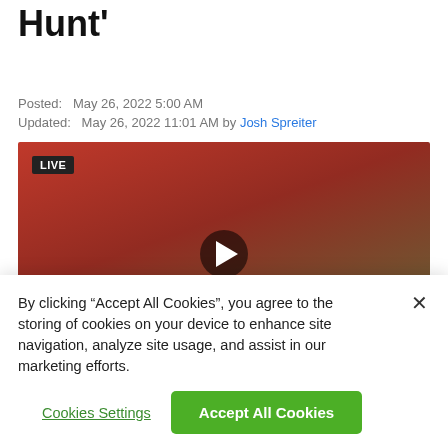Kickoff 'Scavenger Hunt'
Posted:  May 26, 2022 5:00 AM
Updated:  May 26, 2022 11:01 AM by Josh Spreiter
[Figure (photo): Person in red sweatshirt holding a Riddell mini helmet in a clear plastic case, with a LIVE badge overlay and a play button in the center.]
By clicking “Accept All Cookies”, you agree to the storing of cookies on your device to enhance site navigation, analyze site usage, and assist in our marketing efforts.